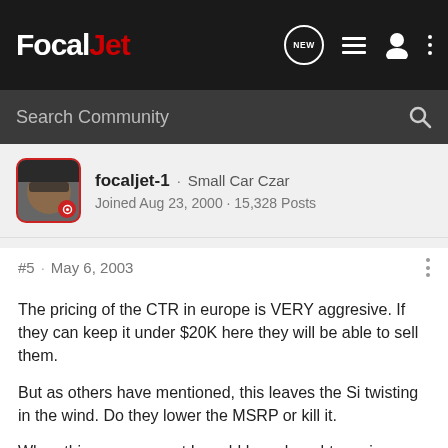FocalJet
Search Community
focaljet-1 · Small Car Czar
Joined Aug 23, 2000 · 15,328 Posts
#5 · May 6, 2003
The pricing of the CTR in europe is VERY aggresive. If they can keep it under $20K here they will be able to sell them.
But as others have mentioned, this leaves the Si twisting in the wind. Do they lower the MSRP or kill it.
When this car came out I would have bought one in a heartbeat. But now it's not quite as alluring. The market for high HP sport compacts is FINALLY heating up.